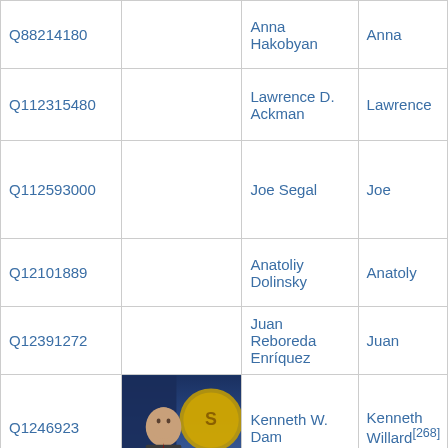| Q88214180 |  | Anna Hakobyan | Anna |
| Q112315480 |  | Lawrence D. Ackman | Lawrence |
| Q112593000 |  | Joe Segal | Joe |
| Q12101889 |  | Anatoliy Dolinsky | Anatoly |
| Q12391272 |  | Juan Reboreda Enríquez | Juan |
| Q1246923 | [photo] | Kenneth W. Dam | Kenneth Willard[268] |